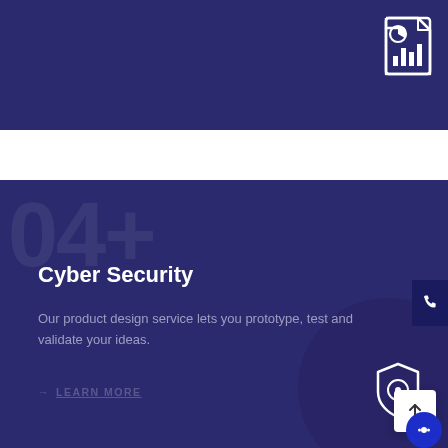[Figure (illustration): Dark navy top banner with a report/chart icon in the top-right corner]
Cyber Security
Our product design service lets you prototype, test and validate your ideas.
→ LEARN MORE
[Figure (illustration): Shield with check/lock icon in bottom-right of dark navy card, decorative circle background]